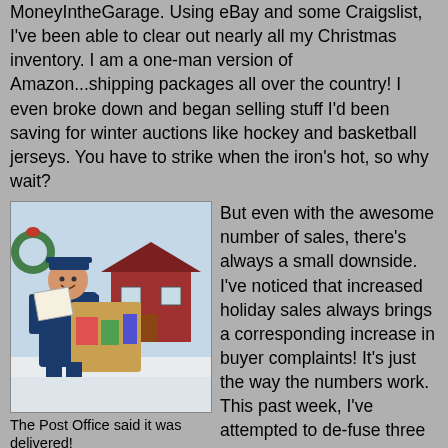MoneyIntheGarage. Using eBay and some Craigslist, I've been able to clear out nearly all my Christmas inventory. I am a one-man version of Amazon...shipping packages all over the country! I even broke down and began selling stuff I'd been saving for winter auctions like hockey and basketball jerseys. You have to strike when the iron's hot, so why wait?
[Figure (photo): Vintage illustration of a postman in uniform reading mail while carrying a large bag full of colorful packages, standing outside a house in winter with a Christmas wreath visible in the background.]
The Post Office said it was delivered!
But even with the awesome number of sales, there's always a small downside. I've noticed that increased holiday sales always brings a corresponding increase in buyer complaints! It's just the way the numbers work. This past week, I've attempted to de-fuse three separate complaints. One buyer wrote me claiming she never received her item...even though USPS tracking showed it was delivered! This is an all too familiar story for seasoned sellers. Many know that despite having proof of USPS delivery, Ebay will still give buyers a refund when they claim non-receipt! Seriously, what's the point of tracking and proof of